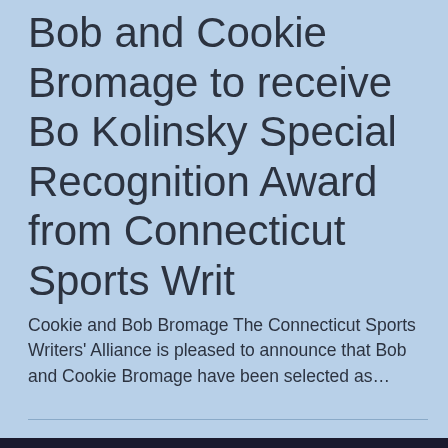Bob and Cookie Bromage to receive Bo Kolinsky Special Recognition Award from Connecticut Sports Writ
Cookie and Bob Bromage The Connecticut Sports Writers' Alliance is pleased to announce that Bob and Cookie Bromage have been selected as…